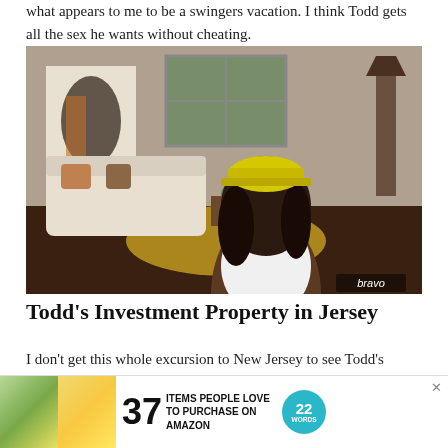what appears to me to be a swingers vacation. I think Todd gets all the sex he wants without cheating.
[Figure (photo): Woman wearing a yellow hard hat, seated in a living room setting, wearing a white outfit. Bravo network watermark in lower right corner.]
Todd's Investment Property in Jersey
I don't get this whole excursion to New Jersey to see Todd's apartment he bought with one of his exes. It sounds like they bought this is really don't